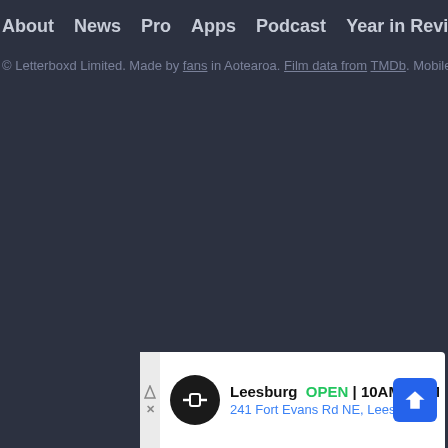About  News  Pro  Apps  Podcast  Year in Review  Gif
© Letterboxd Limited. Made by fans in Aotearoa. Film data from TMDb. Mobile
[Figure (other): Advertisement banner for Leesburg store showing logo, OPEN 10AM-9PM, address 241 Fort Evans Rd NE, Leesburg, with navigation icon and close button]